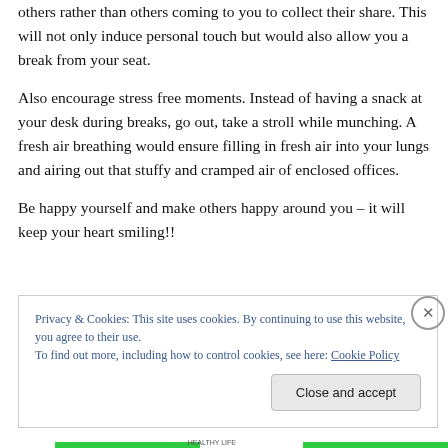others rather than others coming to you to collect their share. This will not only induce personal touch but would also allow you a break from your seat.
Also encourage stress free moments. Instead of having a snack at your desk during breaks, go out, take a stroll while munching. A fresh air breathing would ensure filling in fresh air into your lungs and airing out that stuffy and cramped air of enclosed offices.
Be happy yourself and make others happy around you – it will keep your heart smiling!!
Privacy & Cookies: This site uses cookies. By continuing to use this website, you agree to their use.
To find out more, including how to control cookies, see here: Cookie Policy